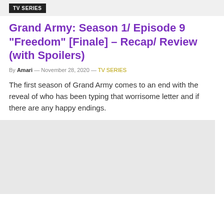TV SERIES
Grand Army: Season 1/ Episode 9 “Freedom” [Finale] – Recap/ Review (with Spoilers)
By Amari — November 28, 2020 — TV SERIES
The first season of Grand Army comes to an end with the reveal of who has been typing that worrisome letter and if there are any happy endings.
[Figure (other): Gray placeholder rectangle representing an image or advertisement area]